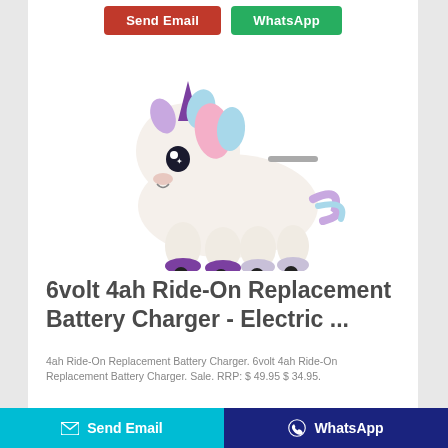[Figure (other): Top navigation buttons: 'Send Email' (red) and 'WhatsApp' (green)]
[Figure (photo): White plush unicorn ride-on toy with purple horn, colorful mane, purple hooves on wheels]
6volt 4ah Ride-On Replacement Battery Charger - Electric ...
4ah Ride-On Replacement Battery Charger. 6volt 4ah Ride-On Replacement Battery Charger. Sale. RRP: $ 49.95 $ 34.95.
[Figure (other): Bottom bar with 'Send Email' (cyan) and 'WhatsApp' (dark blue) buttons]